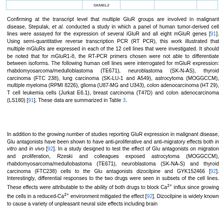|  | SKMEL2 |  |  |  |
| --- | --- | --- | --- | --- |
|  | SKMEL2 |  |  |  |
Confirming at the transcript level that multiple GluR groups are involved in malignant disease, Stepulak, et al. conducted a study in which a panel of human tumor-derived cell lines were assayed for the expression of several iGluR and all eight mGluR genes [91]. Using semi-quantitative reverse transcription PCR (RT PCR), this work illustrated that multiple mGluRs are expressed in each of the 12 cell lines that were investigated. It should be noted that for mGluR1-8, the RT-PCR primers chosen were not able to differentiate between isoforms. The following human cell lines were interrogated for mGluR expression: rhabdomyosarcoma/medulloblastoma (TE671), neuroblastoma (SK-N-AS), thyroid carcinoma (FTC 238), lung carcinoma (SK-LU-1 and A549), astrocytoma (MOGGCCM), multiple myeloma (RPMI 8226), glioma (U87-MG and U343), colon adenocarcinoma (HT 29), T cell leukemia cells (Jurkat E6.1), breast carcinoma (T47D) and colon adenocarcinoma (LS180) [91]. These data are summarized in Table 3.
In addition to the growing number of studies reporting GluR expression in malignant disease, Glu antagonists have been shown to have anti-proliferative and anti-migratory effects both in vitro and in vivo [92]. In a study designed to test the effect of Glu antagonists on migration and proliferation, Rzeski and colleagues exposed astrocytoma (MOGGCCM), rhabdomyosarcoma/medullobastoma (TE671), neuroblastoma (SK-NA-S) and thyroid carcinoma (FTC238) cells to the Glu antagonists dizocilpine and GYK152466 [92]. Interestingly, differential responses to the two drugs were seen in subsets of the cell lines. These effects were attributable to the ability of both drugs to block Ca2+ influx since growing the cells in a reduced-Ca2+ environment mitigated the effect [92]. Dizocilpine is widely known to cause a variety of unpleasant neural side effects including brain